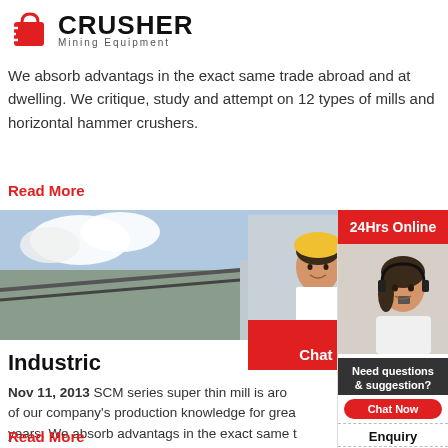[Figure (logo): Crusher Mining Equipment logo with red shopping bag icon and bold text]
We absorb advantags in the exact same trade abroad and at dwelling. We critique, study and attempt on 12 types of mills and horizontal hammer crushers.
Read More
[Figure (photo): Industrial mining facility with conveyor belts and workers in yellow hard hats]
Industric
[Figure (screenshot): Live Chat popup overlay with workers in yellow hard hats, red LIVE CHAT title, Chat now and Chat later buttons]
[Figure (photo): 24Hrs Online panel with woman wearing headset, Need questions & suggestion, Chat Now, Enquiry, limingjlmofen@sina.com]
Nov 11, 2013  SCM series super thin mill is aro of our company's production knowledge for grea years. We absorb advantags in the exact same t and at dwelling. We critique, study and attempt of mills and horizontal hammer crushers. And u created this high-efficiency and low-cost super t
Read More